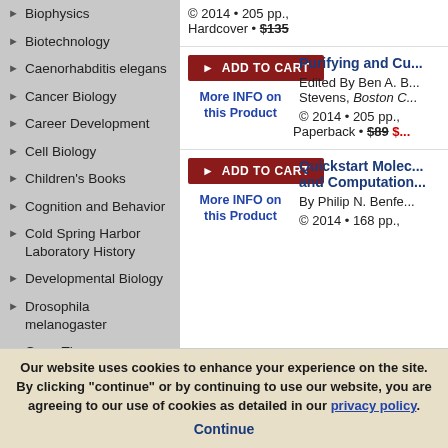Biophysics
Biotechnology
Caenorhabditis elegans
Cancer Biology
Career Development
Cell Biology
Children's Books
Cognition and Behavior
Cold Spring Harbor Laboratory History
Developmental Biology
Drosophila melanogaster
Gene Therapy
General Interest Titles
Genetics
Genomics
© 2014 • 205 pp., Hardcover • $135
ADD TO CART
More INFO on this Product
Purifying and Cu...
Edited By Ben A. B... Stevens, Boston C...
© 2014 • 205 pp., Paperback • $89 $...
ADD TO CART
More INFO on this Product
Quickstart Molec... and Computation...
By Philip N. Benfe...
© 2014 • 168 pp.,
Our website uses cookies to enhance your experience on the site. By clicking "continue" or by continuing to use our website, you are agreeing to our use of cookies as detailed in our privacy policy. Continue